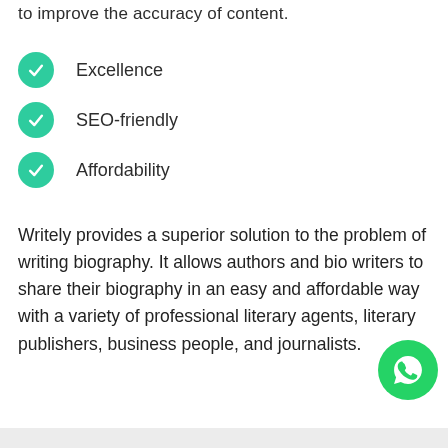to improve the accuracy of content.
Excellence
SEO-friendly
Affordability
Writely provides a superior solution to the problem of writing biography. It allows authors and bio writers to share their biography in an easy and affordable way with a variety of professional literary agents, literary publishers, business people, and journalists.